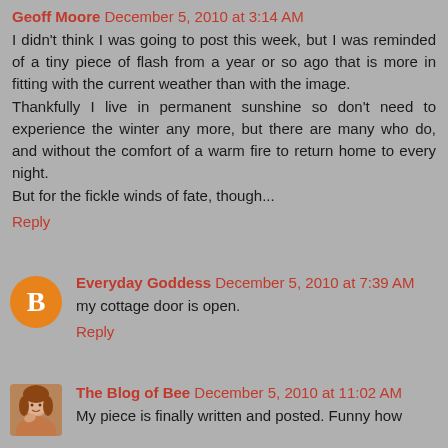Geoff Moore December 5, 2010 at 3:14 AM
I didn't think I was going to post this week, but I was reminded of a tiny piece of flash from a year or so ago that is more in fitting with the current weather than with the image.
Thankfully I live in permanent sunshine so don't need to experience the winter any more, but there are many who do, and without the comfort of a warm fire to return home to every night.
But for the fickle winds of fate, though...
Reply
Everyday Goddess December 5, 2010 at 7:39 AM
my cottage door is open.
Reply
The Blog of Bee December 5, 2010 at 11:02 AM
My piece is finally written and posted. Funny how this comes out as a fresh place and the witty the ai...